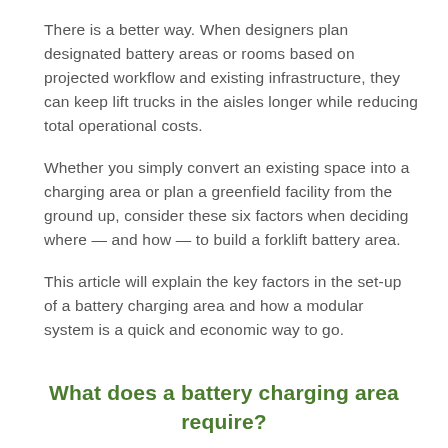There is a better way. When designers plan designated battery areas or rooms based on projected workflow and existing infrastructure, they can keep lift trucks in the aisles longer while reducing total operational costs.
Whether you simply convert an existing space into a charging area or plan a greenfield facility from the ground up, consider these six factors when deciding where — and how — to build a forklift battery area.
This article will explain the key factors in the set-up of a battery charging area and how a modular system is a quick and economic way to go.
What does a battery charging area require?